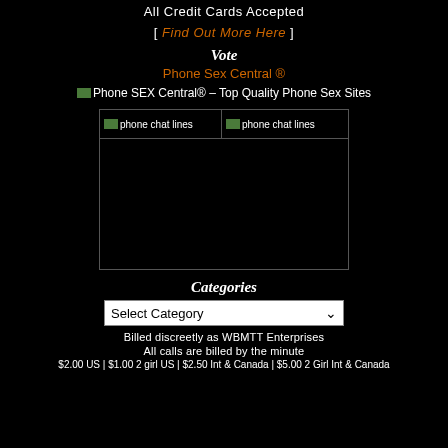All Credit Cards Accepted
[ Find Out More Here ]
Vote
Phone Sex Central ®
[Figure (other): Phone SEX Central® - Top Quality Phone Sex Sites banner image (broken)]
[Figure (other): Two phone chat lines images side by side in a bordered box]
Categories
Select Category (dropdown)
Billed discreetly as WBMTT Enterprises
All calls are billed by the minute
$2.00 US | $1.00 2 girl US | $2.50 Int & Canada | $5.00 2 Girl Int & Canada